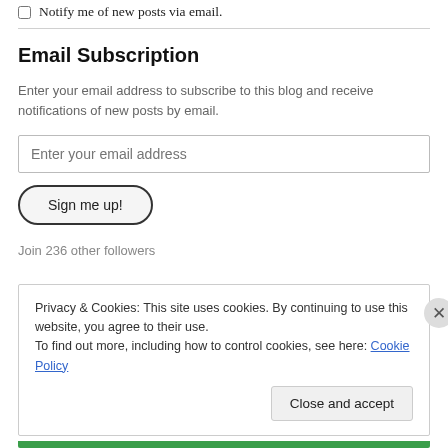Notify me of new posts via email.
Email Subscription
Enter your email address to subscribe to this blog and receive notifications of new posts by email.
Enter your email address
Sign me up!
Join 236 other followers
Privacy & Cookies: This site uses cookies. By continuing to use this website, you agree to their use.
To find out more, including how to control cookies, see here: Cookie Policy
Close and accept